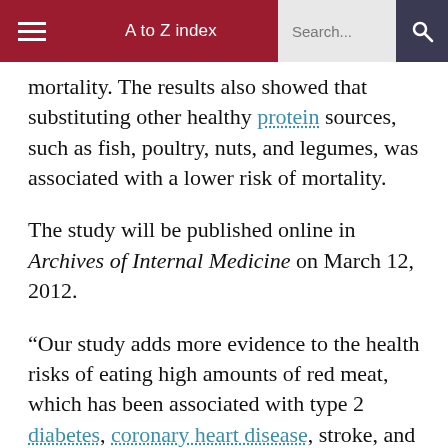≡   A to Z index   Search...   🔍
mortality. The results also showed that substituting other healthy protein sources, such as fish, poultry, nuts, and legumes, was associated with a lower risk of mortality.
The study will be published online in Archives of Internal Medicine on March 12, 2012.
“Our study adds more evidence to the health risks of eating high amounts of red meat, which has been associated with type 2 diabetes, coronary heart disease, stroke, and certain cancers in other studies,” said lead author [[An Pan]], research fellow in the Department of Nutrition at HSPH.